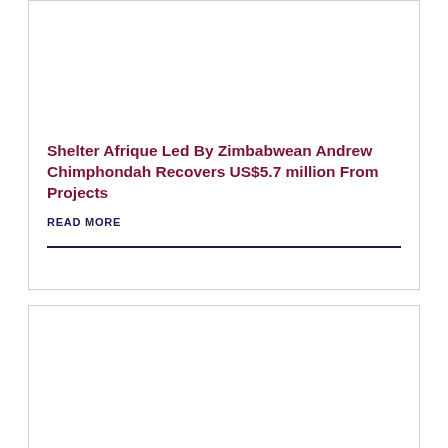Shelter Afrique Led By Zimbabwean Andrew Chimphondah Recovers US$5.7 million From Projects
READ MORE
Nigeria Raises Stakes in Pan-African Housing...